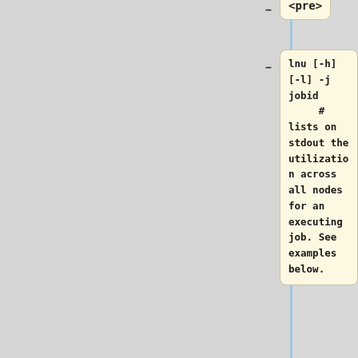<pre>
lnu [-h] [-l] -j jobid          # lists on stdout the utilization across all nodes for an executing job. See examples below.
</pre>
'''Examples'''
<pre>
xxxx@login4
~]$ lnu -l -j 705075